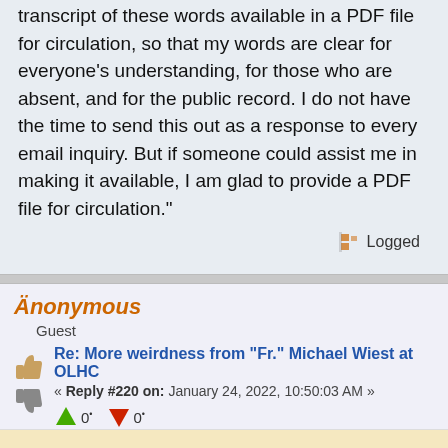transcript of these words available in a PDF file for circulation, so that my words are clear for everyone's understanding, for those who are absent, and for the public record. I do not have the time to send this out as a response to every email inquiry. But if someone could assist me in making it available, I am glad to provide a PDF file for circulation."
Logged
Änonymous
Guest
Re: More weirdness from “Fr.” Michael Wiest at OLHC
« Reply #220 on: January 24, 2022, 10:50:03 AM »
0
0